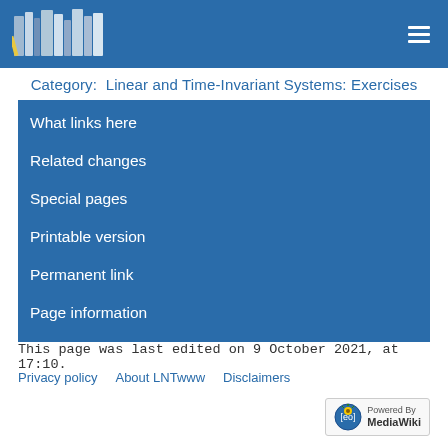[Figure (logo): Site header with books logo image and hamburger menu icon on blue background]
Category:  Linear and Time-Invariant Systems: Exercises
What links here
Related changes
Special pages
Printable version
Permanent link
Page information
This page was last edited on 9 October 2021, at 17:10.
Privacy policy   About LNTwww   Disclaimers
[Figure (logo): Powered by MediaWiki badge with sunflower logo]